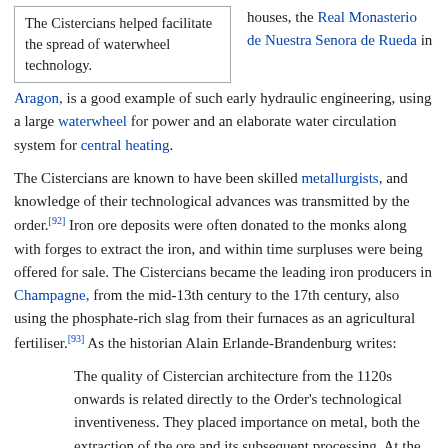The Cistercians helped facilitate the spread of waterwheel technology.
houses, the Real Monasterio de Nuestra Senora de Rueda in Aragon, is a good example of such early hydraulic engineering, using a large waterwheel for power and an elaborate water circulation system for central heating.
The Cistercians are known to have been skilled metallurgists, and knowledge of their technological advances was transmitted by the order.[92] Iron ore deposits were often donated to the monks along with forges to extract the iron, and within time surpluses were being offered for sale. The Cistercians became the leading iron producers in Champagne, from the mid-13th century to the 17th century, also using the phosphate-rich slag from their furnaces as an agricultural fertiliser.[93] As the historian Alain Erlande-Brandenburg writes:
The quality of Cistercian architecture from the 1120s onwards is related directly to the Order's technological inventiveness. They placed importance on metal, both the extraction of the ore and its subsequent processing. At the abbey of Fontenay the forge is not